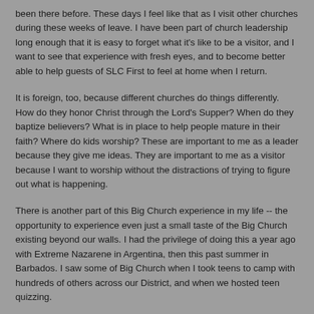been there before. These days I feel like that as I visit other churches during these weeks of leave. I have been part of church leadership long enough that it is easy to forget what it's like to be a visitor, and I want to see that experience with fresh eyes, and to become better able to help guests of SLC First to feel at home when I return.
It is foreign, too, because different churches do things differently. How do they honor Christ through the Lord's Supper? When do they baptize believers? What is in place to help people mature in their faith? Where do kids worship? These are important to me as a leader because they give me ideas. They are important to me as a visitor because I want to worship without the distractions of trying to figure out what is happening.
There is another part of this Big Church experience in my life -- the opportunity to experience even just a small taste of the Big Church existing beyond our walls. I had the privilege of doing this a year ago with Extreme Nazarene in Argentina, then this past summer in Barbados. I saw some of Big Church when I took teens to camp with hundreds of others across our District, and when we hosted teen quizzing.
The pastor where I worshiped today returned yesterday(?) from his own